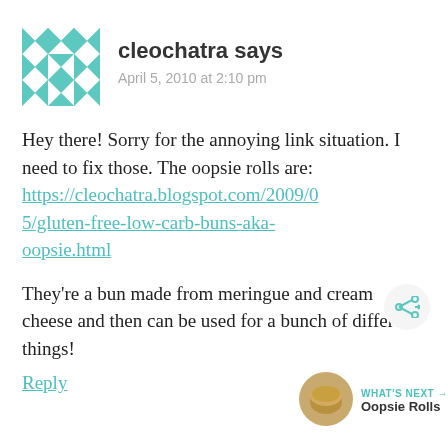[Figure (illustration): Teal geometric quilt-pattern avatar icon in a square]
cleochatra says
April 5, 2010 at 2:10 pm
Hey there! Sorry for the annoying link situation. I need to fix those. The oopsie rolls are:
https://cleochatra.blogspot.com/2009/05/gluten-free-low-carb-buns-aka-oopsie.html
They're a bun made from meringue and cream cheese and then can be used for a bunch of different things!
Reply